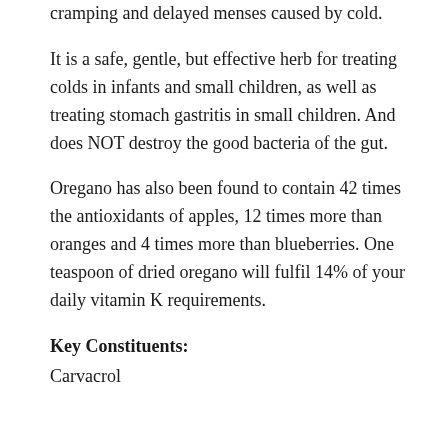cramping and delayed menses caused by cold.
It is a safe, gentle, but effective herb for treating colds in infants and small children, as well as treating stomach gastritis in small children. And does NOT destroy the good bacteria of the gut.
Oregano has also been found to contain 42 times the antioxidants of apples, 12 times more than oranges and 4 times more than blueberries. One teaspoon of dried oregano will fulfil 14% of your daily vitamin K requirements.
Key Constituents:
Carvacrol